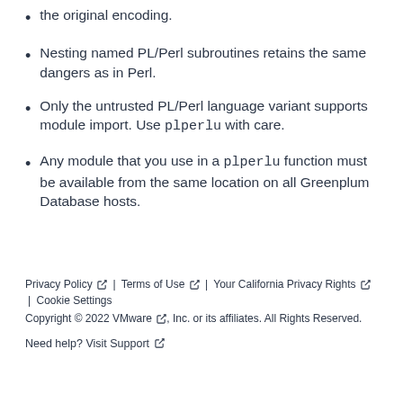the original encoding.
Nesting named PL/Perl subroutines retains the same dangers as in Perl.
Only the untrusted PL/Perl language variant supports module import. Use plperlu with care.
Any module that you use in a plperlu function must be available from the same location on all Greenplum Database hosts.
Privacy Policy | Terms of Use | Your California Privacy Rights | Cookie Settings
Copyright © 2022 VMware, Inc. or its affiliates. All Rights Reserved.
Need help? Visit Support